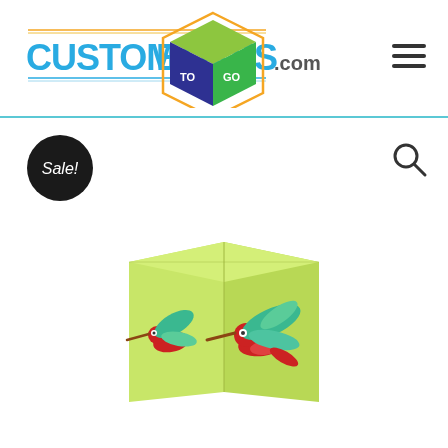[Figure (logo): CustomBoxesToGo.com logo with colorful 3D cube icon and text in blue/cyan]
[Figure (illustration): Black circle Sale! badge]
[Figure (illustration): Search magnifying glass icon]
[Figure (photo): Light green cube-shaped box with hummingbird illustrations printed on two visible sides]